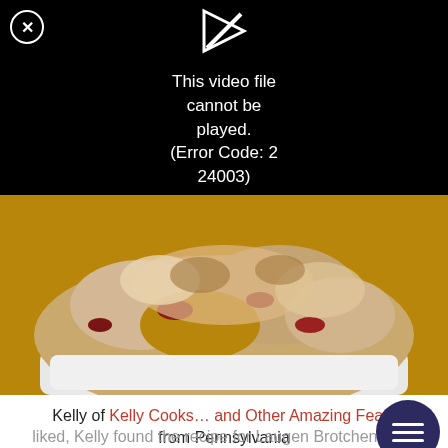[Figure (screenshot): Black video player area showing error message: 'This video file cannot be played. (Error Code: 2 24003)' with a video icon and close button]
[Figure (photo): Close-up photo of a baked dish with what appears to be chicken or bread rolls in a white baking dish]
Kelly of Kelly Cooks... and Other Amazing Feats from Pennsylvania
Laugen Brotchen (Bretzel Rolls)
In an attempt to make a German bread that her husband liked, Kelly found the recipe for Laugen Brotchen, also known as Bretzel Rolls. These look absolutely wonderful and remind